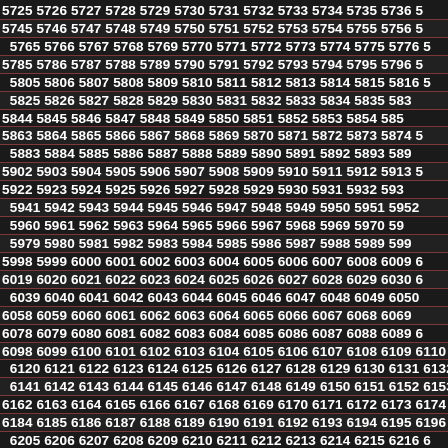5725 5726 5727 5728 5729 5730 5731 5732 5733 5734 5735 5736 5737...
Number grid from 5725 to approximately 6355, arranged in rows of ~13 numbers each.